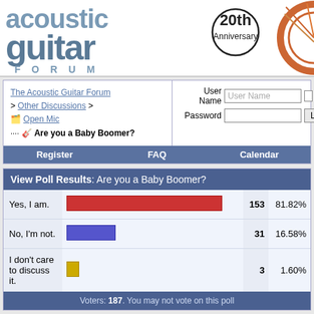[Figure (logo): Acoustic Guitar Forum logo with 20th Anniversary badge]
| Nav | Login |
| --- | --- |
| The Acoustic Guitar Forum > Other Discussions > Open Mic :: Are you a Baby Boomer? | User Name / Password login fields |
Register  FAQ  Calendar
View Poll Results: Are you a Baby Boomer?
[Figure (bar-chart): Are you a Baby Boomer?]
Voters: 187. You may not vote on this poll
Post Reply  Page 5 of 8  « First  <  2  3  4  5  6  7  8  >
Thread Tools